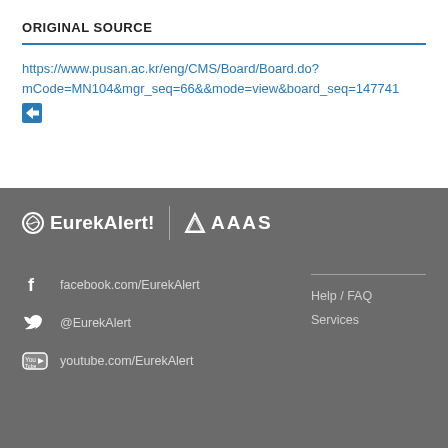ORIGINAL SOURCE
https://www.pusan.ac.kr/eng/CMS/Board/Board.do?mCode=MN104&mgr_seq=66&&mode=view&board_seq=147741 ➨
[Figure (logo): EurekAlert! logo and AAAS logo side by side on dark grey background]
facebook.com/EurekAlert  @EurekAlert  youtube.com/EurekAlert  Help / FAQ  Services